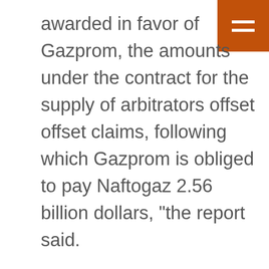awarded in favor of Gazprom, the amounts under the contract for the supply of arbitrators offset offset claims, following which Gazprom is obliged to pay Naftogaz 2.56 billion dollars, "the report said.